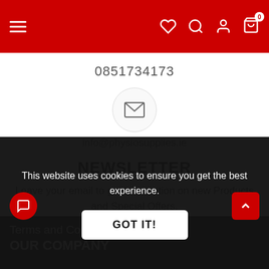Navigation header with hamburger menu, heart, search, account, and cart (0) icons on red background
0851734173
[Figure (illustration): Email envelope icon inside a light gray circle]
info@physiosupplies.ie
NEWSLETTER
Leave your email to get information on new Products and Special Offers.
Enter your E-Mail  GO
This website uses cookies to ensure you get the best experience.
GOT IT!
Terms and Conditions
OUR COMPANY